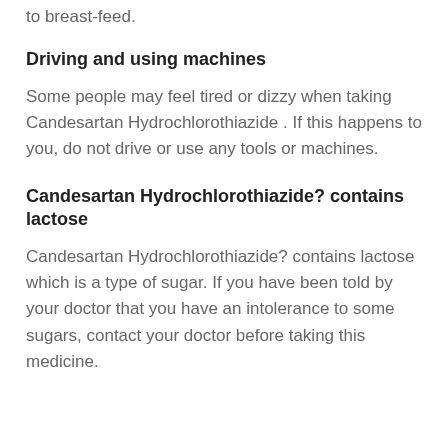to breast-feed.
Driving and using machines
Some people may feel tired or dizzy when taking Candesartan Hydrochlorothiazide . If this happens to you, do not drive or use any tools or machines.
Candesartan Hydrochlorothiazide? contains lactose
Candesartan Hydrochlorothiazide? contains lactose which is a type of sugar. If you have been told by your doctor that you have an intolerance to some sugars, contact your doctor before taking this medicine.